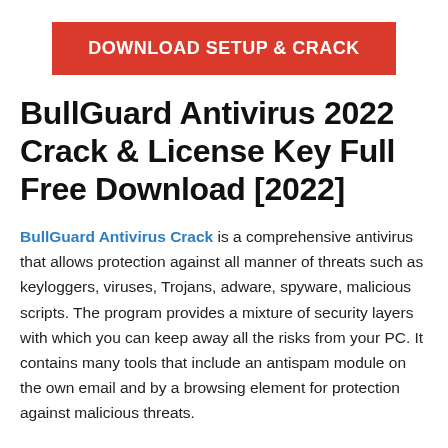[Figure (other): Red button with white bold text reading DOWNLOAD SETUP & CRACK]
BullGuard Antivirus 2022 Crack & License Key Full Free Download [2022]
BullGuard Antivirus Crack is a comprehensive antivirus that allows protection against all manner of threats such as keyloggers, viruses, Trojans, adware, spyware, malicious scripts. The program provides a mixture of security layers with which you can keep away all the risks from your PC. It contains many tools that include an antispam module on the own email and by a browsing element for protection against malicious threats.